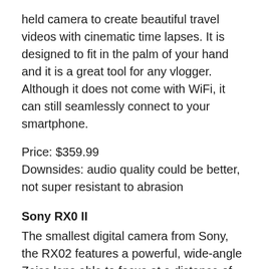held camera to create beautiful travel videos with cinematic time lapses. It is designed to fit in the palm of your hand and it is a great tool for any vlogger.  Although it does not come with WiFi, it can still seamlessly connect to your smartphone.
Price: $359.99
Downsides: audio quality could be better, not super resistant to abrasion
Sony RX0 II
The smallest digital camera from Sony, the RX02 features a powerful, wide-angle Zeiss lens able to focus at a distance of less than eight inches. The technological features packed into this tiny digicam allow it to shoot not only high-quality video, but also beautiful stills. A great feature of the RX02 is its flip-out